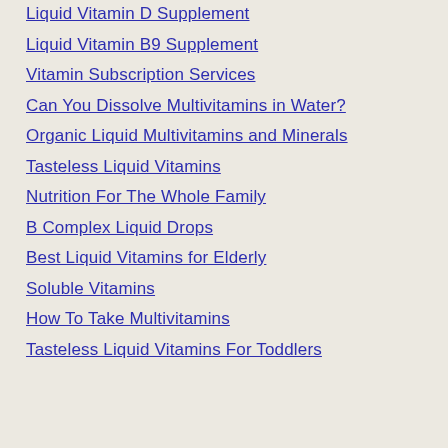Liquid Vitamin D Supplement
Liquid Vitamin B9 Supplement
Vitamin Subscription Services
Can You Dissolve Multivitamins in Water?
Organic Liquid Multivitamins and Minerals
Tasteless Liquid Vitamins
Nutrition For The Whole Family
B Complex Liquid Drops
Best Liquid Vitamins for Elderly
Soluble Vitamins
How To Take Multivitamins
Tasteless Liquid Vitamins For Toddlers